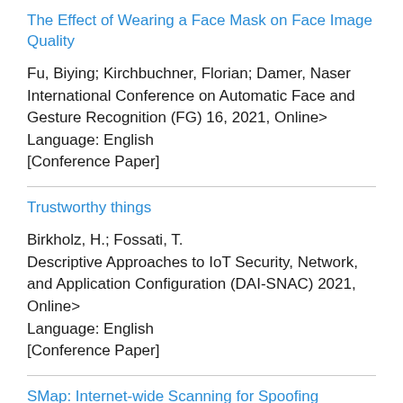The Effect of Wearing a Face Mask on Face Image Quality
Fu, Biying; Kirchbuchner, Florian; Damer, Naser
International Conference on Automatic Face and Gesture Recognition (FG) 16, 2021, Online>
Language: English
[Conference Paper]
Trustworthy things
Birkholz, H.; Fossati, T.
Descriptive Approaches to IoT Security, Network, and Application Configuration (DAI-SNAC) 2021, Online>
Language: English
[Conference Paper]
SMap: Internet-wide Scanning for Spoofing
Dai, T.; Shulman, H.